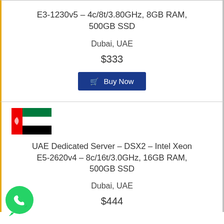E3-1230v5 – 4c/8t/3.80GHz, 8GB RAM, 500GB SSD
Dubai, UAE
$333
Buy Now
[Figure (illustration): UAE flag icon]
UAE Dedicated Server – DSX2 – Intel Xeon E5-2620v4 – 8c/16t/3.0GHz, 16GB RAM, 500GB SSD
Dubai, UAE
$444
[Figure (logo): WhatsApp button logo]